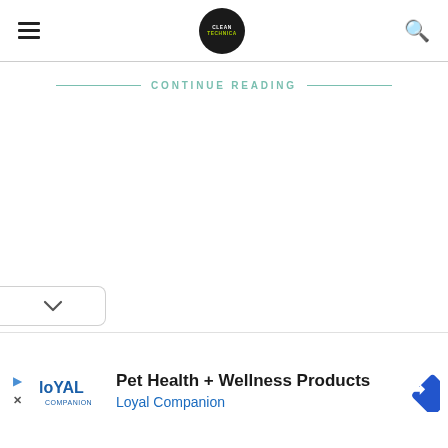CleanTechnica — navigation bar with hamburger menu, logo, and search icon
CONTINUE READING
[Figure (other): Collapse/minimize chevron button on left side]
[Figure (other): Advertisement banner: Loyal Companion — Pet Health + Wellness Products with logo and directional icon]